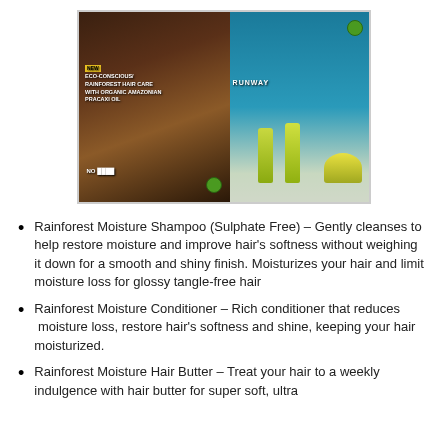[Figure (photo): Photo of The Body Shop Rainforest Moisture hair care product range including shampoo bottles and hair butter jar, displayed against a blue aquatic/rainforest background with 'NEW ECO-CONSCIOUS RAINFOREST HAIR CARE WITH ORGANIC AMAZONIAN PRACAXI OIL' text and 'RUNWAY' branding visible.]
Rainforest Moisture Shampoo (Sulphate Free) – Gently cleanses to help restore moisture and improve hair's softness without weighing it down for a smooth and shiny finish. Moisturizes your hair and limit moisture loss for glossy tangle-free hair
Rainforest Moisture Conditioner – Rich conditioner that reduces  moisture loss, restore hair's softness and shine, keeping your hair moisturized.
Rainforest Moisture Hair Butter – Treat your hair to a weekly indulgence with hair butter for super soft, ultra